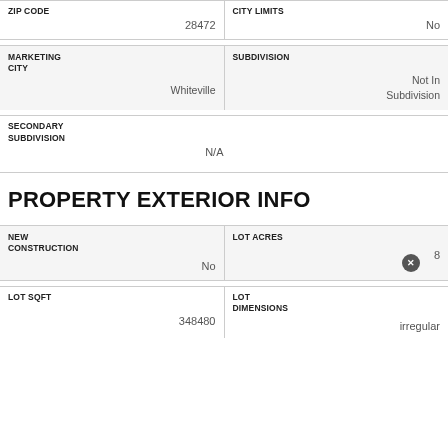| ZIP CODE | CITY LIMITS |
| --- | --- |
| 28472 | No |
| MARKETING CITY | SUBDIVISION |
| --- | --- |
| Whiteville | Not In Subdivision |
| SECONDARY SUBDIVISION |
| --- |
| N/A |
PROPERTY EXTERIOR INFO
| NEW CONSTRUCTION | LOT ACRES |
| --- | --- |
| No | 8 |
| LOT SQFT | LOT DIMENSIONS |
| --- | --- |
| 348480 | irregular |